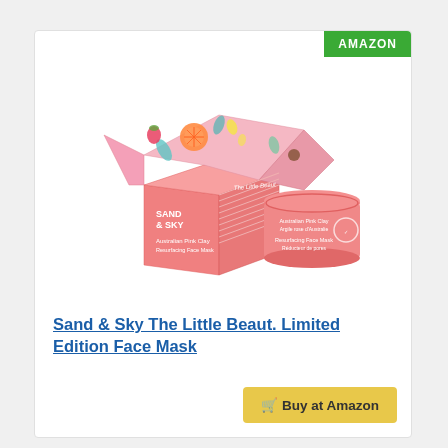[Figure (photo): Sand & Sky The Little Beaut. Limited Edition Face Mask product photo showing a pink gift-wrapped box with colorful tropical fruit pattern and a round pink jar of Australian Pink Clay Resurfacing Face Mask beside it.]
Sand & Sky The Little Beaut. Limited Edition Face Mask
Buy at Amazon